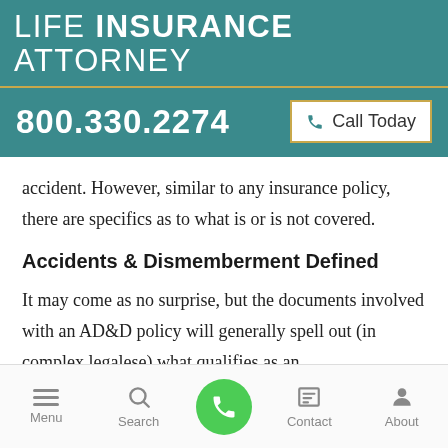LIFE INSURANCE ATTORNEY
800.330.2274   ☎ Call Today
accident. However, similar to any insurance policy, there are specifics as to what is or is not covered.
Accidents & Dismemberment Defined
It may come as no surprise, but the documents involved with an AD&D policy will generally spell out (in complex legalese) what qualifies as an
Menu  Search  Contact  About